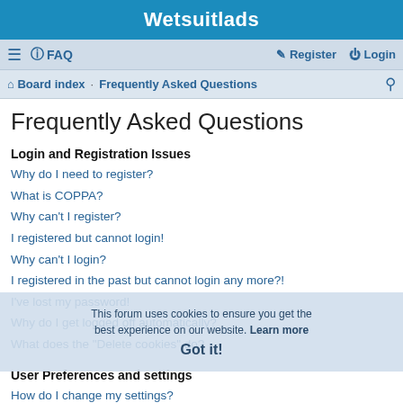Wetsuitlads
≡  FAQ    Register   Login
Board index · Frequently Asked Questions
Frequently Asked Questions
Login and Registration Issues
Why do I need to register?
What is COPPA?
Why can't I register?
I registered but cannot login!
Why can't I login?
I registered in the past but cannot login any more?!
I've lost my password!
Why do I get logged off automatically?
What does the "Delete cookies" do?
User Preferences and settings
How do I change my settings?
How do I prevent my username appearing in the online user listings?
The times are not correct!
I changed the timezone and the time is still wrong!
My language is not in the list!
What are the images next to my username?